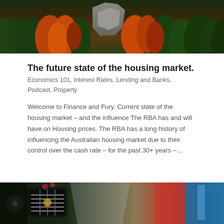[Figure (photo): Aerial or hillside view of an autumn forest with orange, red, and green trees and a rocky cliff face]
The future state of the housing market.
Economics 101, Interest Rates, Lending and Banks, Podcast, Property
Welcome to Finance and Fury. Current state of the housing market – and the influence The RBA has and will have on Housing prices. The RBA has a long history of influencing the Australian housing market due to their control over the cash rate – for the past 30+ years –...
[Figure (photo): Close-up of vintage or classic car front grille with decorative elements, red and blue signage in background]